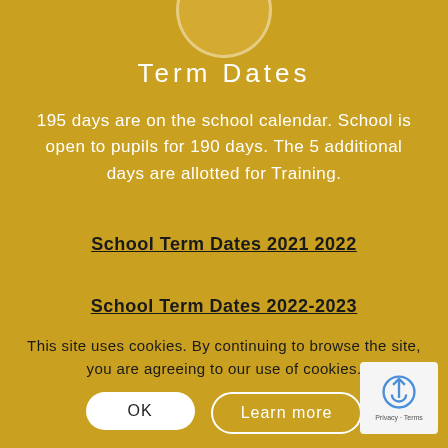Term Dates
195 days are on the school calendar. School is open to pupils for 190 days. The 5 additional days are allotted for Training.
School Term Dates 2021 2022
School Term Dates 2022-2023
This site uses cookies. By continuing to browse the site, you are agreeing to our use of cookies.
OK
Learn more